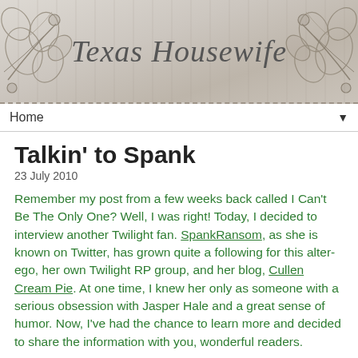[Figure (illustration): Blog header banner reading 'Texas Housewife' in italic script with decorative floral/scroll designs on both sides on a wood-grain gray background]
Home ▼
Talkin' to Spank
23 July 2010
Remember my post from a few weeks back called I Can't Be The Only One? Well, I was right! Today, I decided to interview another Twilight fan. SpankRansom, as she is known on Twitter, has grown quite a following for this alter-ego, her own Twilight RP group, and her blog, Cullen Cream Pie. At one time, I knew her only as someone with a serious obsession with Jasper Hale and a great sense of humor. Now, I've had the chance to learn more and decided to share the information with you, wonderful readers.